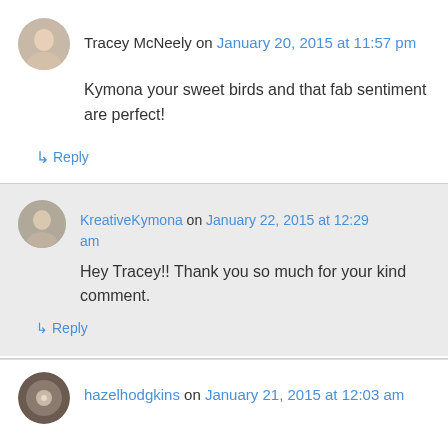Tracey McNeely on January 20, 2015 at 11:57 pm
Kymona your sweet birds and that fab sentiment are perfect!
↳ Reply
KreativeKymona on January 22, 2015 at 12:29 am
Hey Tracey!! Thank you so much for your kind comment.
↳ Reply
hazelhodgkins on January 21, 2015 at 12:03 am